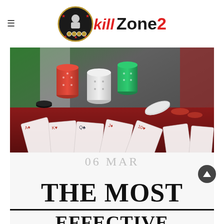kill Zone 2
[Figure (photo): Stacks of casino poker chips in red, white, and green colors on a red felt surface with playing cards spread out, Italian flag draped in the background.]
06 MAR
THE MOST EFFECTIVE